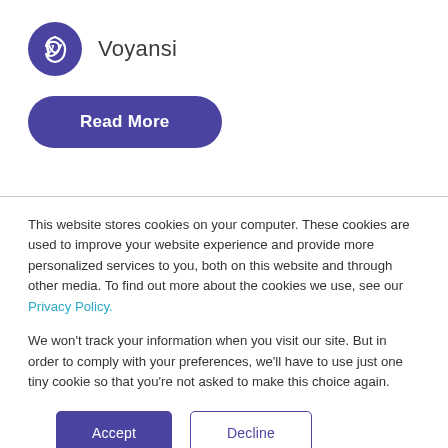[Figure (logo): Voyansi company logo: purple circle with white cursive 'v' mark, followed by the text 'Voyansi']
Read More
This website stores cookies on your computer. These cookies are used to improve your website experience and provide more personalized services to you, both on this website and through other media. To find out more about the cookies we use, see our Privacy Policy.
We won't track your information when you visit our site. But in order to comply with your preferences, we'll have to use just one tiny cookie so that you're not asked to make this choice again.
Accept
Decline